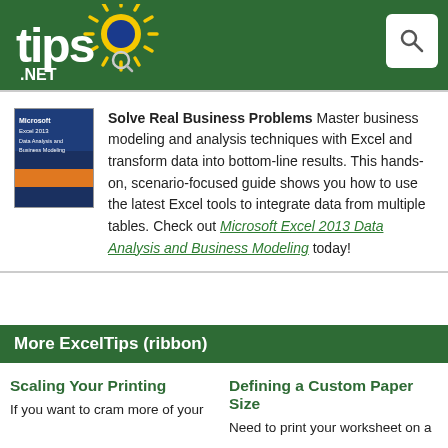tips.NET
[Figure (logo): tips.NET logo with yellow sun burst graphic on green header background, with search icon top right]
Solve Real Business Problems Master business modeling and analysis techniques with Excel and transform data into bottom-line results. This hands-on, scenario-focused guide shows you how to use the latest Excel tools to integrate data from multiple tables. Check out Microsoft Excel 2013 Data Analysis and Business Modeling today!
More ExcelTips (ribbon)
Scaling Your Printing
If you want to cram more of your
Defining a Custom Paper Size
Need to print your worksheet on a